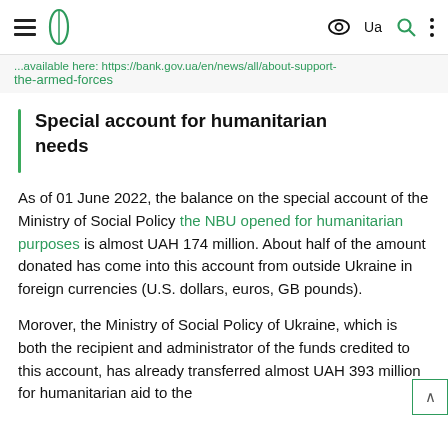Navigation bar with hamburger menu, logo, eye icon, Ua, search, and more options
...available here: https://bank.gov.ua/en/news/all/about-support-the-armed-forces
Special account for humanitarian needs
As of 01 June 2022, the balance on the special account of the Ministry of Social Policy the NBU opened for humanitarian purposes is almost UAH 174 million. About half of the amount donated has come into this account from outside Ukraine in foreign currencies (U.S. dollars, euros, GB pounds).
Morover, the Ministry of Social Policy of Ukraine, which is both the recipient and administrator of the funds credited to this account, has already transferred almost UAH 393 million for humanitarian aid to the